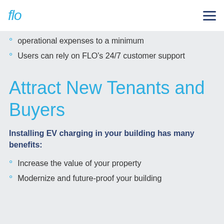flo
operational expenses to a minimum
Users can rely on FLO's 24/7 customer support
Attract New Tenants and Buyers
Installing EV charging in your building has many benefits:
Increase the value of your property
Modernize and future-proof your building